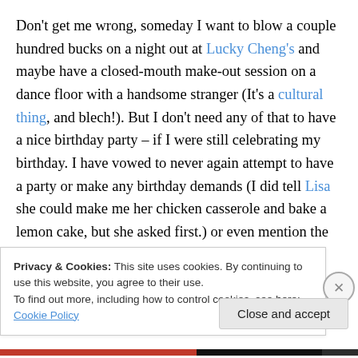Don't get me wrong, someday I want to blow a couple hundred bucks on a night out at Lucky Cheng's and maybe have a closed-mouth make-out session on a dance floor with a handsome stranger (It's a cultural thing, and blech!). But I don't need any of that to have a nice birthday party – if I were still celebrating my birthday. I have vowed to never again attempt to have a party or make any birthday demands (I did tell Lisa she could make me her chicken casserole and bake a lemon cake, but she asked first.) or even mention the dreaded day after last year's debacle. I haven't mentioned last year's debacle in great
Privacy & Cookies: This site uses cookies. By continuing to use this website, you agree to their use.
To find out more, including how to control cookies, see here: Cookie Policy
Close and accept